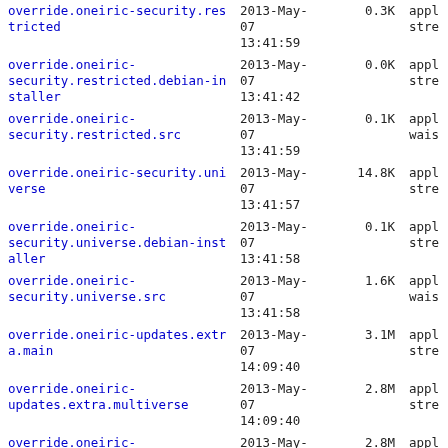| Name | Date | Size | Type |
| --- | --- | --- | --- |
| override.oneiric-security.restricted | 2013-May-07 13:41:59 | 0.3K | appl stre |
| override.oneiric-security.restricted.debian-installer | 2013-May-07 13:41:42 | 0.0K | appl stre |
| override.oneiric-security.restricted.src | 2013-May-07 13:41:59 | 0.1K | appl wais |
| override.oneiric-security.universe | 2013-May-07 13:41:57 | 14.8K | appl stre |
| override.oneiric-security.universe.debian-installer | 2013-May-07 13:41:58 | 0.1K | appl stre |
| override.oneiric-security.universe.src | 2013-May-07 13:41:58 | 1.6K | appl wais |
| override.oneiric-updates.extra.main | 2013-May-07 14:09:40 | 3.1M | appl stre |
| override.oneiric-updates.extra.multiverse | 2013-May-07 14:09:40 | 2.8M | appl stre |
| override.oneiric-updates.extra.restricted | 2013-May-07 14:09:41 | 2.8M | appl stre |
| override.oneiric-updates.extra.universe | 2013-May-07 14:09:39 | 2.9M | appl stre |
| override.oneiric-updates.main | 2013-May-07 14:09:39 | 109.5K | appl stre |